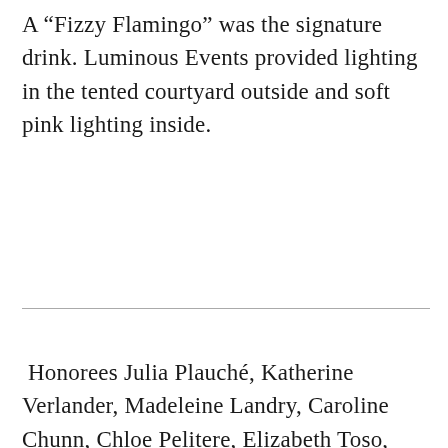A “Fizzy Flamingo” was the signature drink. Luminous Events provided lighting in the tented courtyard outside and soft pink lighting inside.
Honorees Julia Plauché, Katherine Verlander, Madeleine Landry, Caroline Chunn, Chloe Pelitere, Elizabeth Toso, Shea Duckworth,